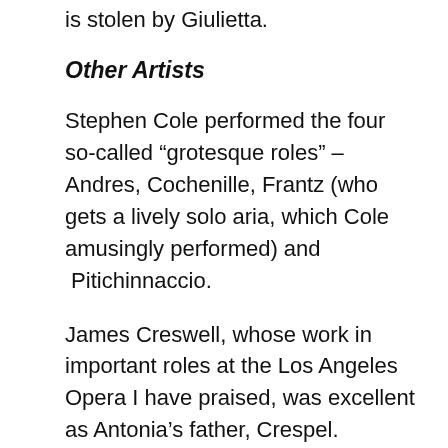is stolen by Giulietta.
Other Artists
Stephen Cole performed the four so-called “grotesque roles” – Andres, Cochenille, Frantz (who gets a lively solo aria, which Cole amusingly performed) and Pitichinnaccio.
James Creswell, whose work in important roles at the Los Angeles Opera I have praised, was excellent as Antonia’s father, Crespel. Thomas Glenn was effective as Spalanzani.
Hadliegh Adams was Luther, Matthew Grills was Nathanael and Joo Won Kang was